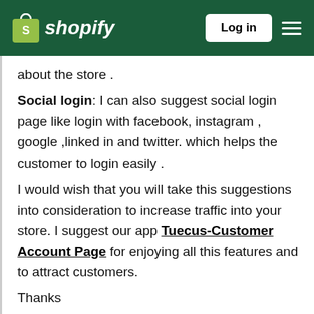Shopify — Log in
about the store .
Social login: I can also suggest social login page like login with facebook,  instagram , google ,linked in and twitter. which helps the customer to login easily .
I would  wish that you will take this suggestions into consideration to increase traffic into your store.  I suggest our app Tuecus-Customer Account Page for enjoying all this features and to attract customers.
Thanks
Tuecus